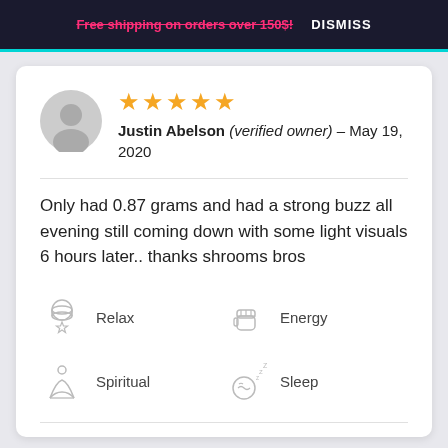Free shipping on orders over 150$!   DISMISS
★★★★★
Justin Abelson (verified owner) – May 19, 2020
Only had 0.87 grams and had a strong buzz all evening still coming down with some light visuals 6 hours later.. thanks shrooms bros
Relax
Energy
Spiritual
Sleep